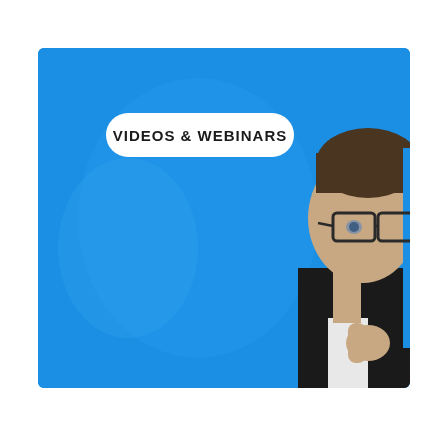[Figure (photo): A promotional banner image with a bright blue background showing a man with glasses wearing a black jacket, visible from the nose up on the right side. A white pill-shaped badge with the text 'VIDEOS & WEBINARS' appears in the upper left area of the image.]